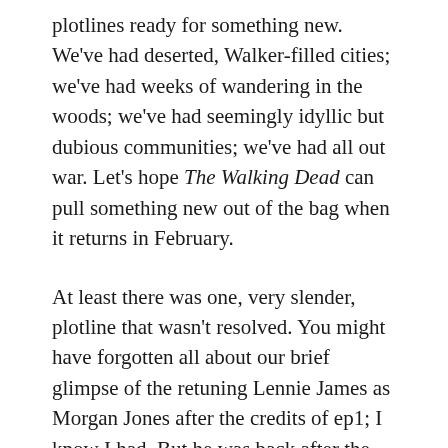plotlines ready for something new. We've had deserted, Walker-filled cities; we've had weeks of wandering in the woods; we've had seemingly idyllic but dubious communities; we've had all out war. Let's hope The Walking Dead can pull something new out of the bag when it returns in February.
At least there was one, very slender, plotline that wasn't resolved. You might have forgotten all about our brief glimpse of the retuning Lennie James as Morgan Jones after the credits of ep1; I know I had. But he was back after the credits here. Let's hope he actually starts to play some part in the proceedings when the show returns...